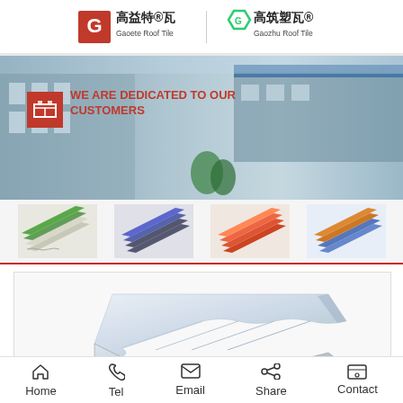[Figure (logo): Gaoete Roof Tile and Gaozhu Roof Tile logos with Chinese characters]
[Figure (photo): Banner with factory building background, red box with icon, text WE ARE DEDICATED TO OUR CUSTOMERS]
[Figure (photo): Product strip showing four types of colored roof tiles: green/white, blue/black stone-coated, red/orange, and blue/orange]
[Figure (photo): Transparent/clear corrugated FRP or PVC roof tile panel shown on white background]
Home   Tel   Email   Share   Contact